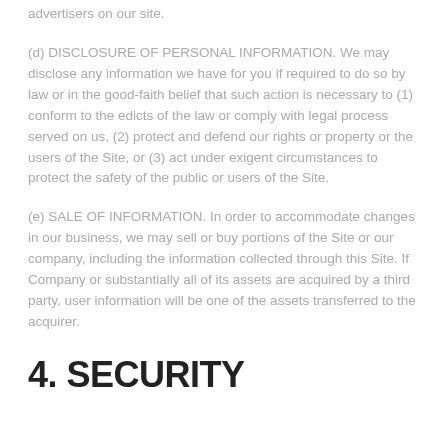advertisers on our site.
(d) DISCLOSURE OF PERSONAL INFORMATION. We may disclose any information we have for you if required to do so by law or in the good-faith belief that such action is necessary to (1) conform to the edicts of the law or comply with legal process served on us, (2) protect and defend our rights or property or the users of the Site, or (3) act under exigent circumstances to protect the safety of the public or users of the Site.
(e) SALE OF INFORMATION. In order to accommodate changes in our business, we may sell or buy portions of the Site or our company, including the information collected through this Site. If Company or substantially all of its assets are acquired by a third party, user information will be one of the assets transferred to the acquirer.
4. SECURITY